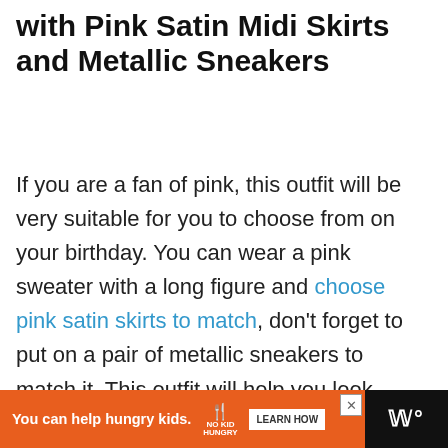with Pink Satin Midi Skirts and Metallic Sneakers
If you are a fan of pink, this outfit will be very suitable for you to choose from on your birthday. You can wear a pink sweater with a long figure and choose pink satin skirts to match, don't forget to put on a pair of metallic sneakers to match it. This outfit will help you look more youthful and active. In addition to the good color matching and being very eye-catching, this outfit also has a very distinctive style among all the winter birthday outfits above, which will make
[Figure (screenshot): Scroll-to-top button (blue square with upward chevron)]
[Figure (screenshot): Floating heart button (blue circle) and share button (blue circle)]
[Figure (screenshot): Advertisement banner: orange background 'You can help hungry kids.' with No Kid Hungry logo and LEARN HOW button, dark right section]